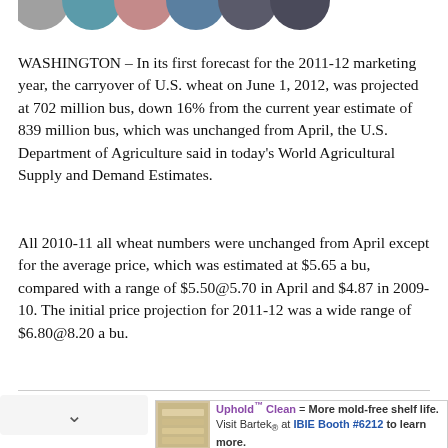[Figure (illustration): Row of partially visible colored circles (grey, teal/blue, mauve/pink, steel blue, dark grey, dark grey) at the top of the page, cropped at the top]
WASHINGTON – In its first forecast for the 2011-12 marketing year, the carryover of U.S. wheat on June 1, 2012, was projected at 702 million bus, down 16% from the current year estimate of 839 million bus, which was unchanged from April, the U.S. Department of Agriculture said in today's World Agricultural Supply and Demand Estimates.
All 2010-11 all wheat numbers were unchanged from April except for the average price, which was estimated at $5.65 a bu, compared with a range of $5.50@5.70 in April and $4.87 in 2009-10. The initial price projection for 2011-12 was a wide range of $6.80@8.20 a bu.
[Figure (photo): Advertisement featuring bread/cracker product image and text: Uphold Clean = More mold-free shelf life. Visit Bartek at IBIE Booth #6212 to learn more.]